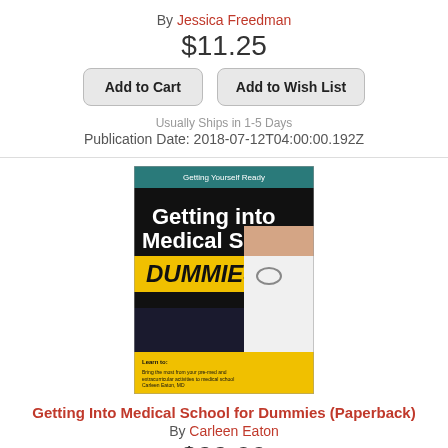By Jessica Freedman
$11.25
Add to Cart
Add to Wish List
Usually Ships in 1-5 Days
Publication Date: 2018-07-12T04:00:00.192Z
[Figure (photo): Book cover for 'Getting into Medical School for Dummies' by Carleen Eaton, MD. Dark background with yellow 'DUMMIES' text and white title text, shows a person in a white coat with stethoscope.]
Getting Into Medical School for Dummies (Paperback)
By Carleen Eaton
$22.99
Add to Cart
Add to Wish List
Usually Ships in 1-5 Days